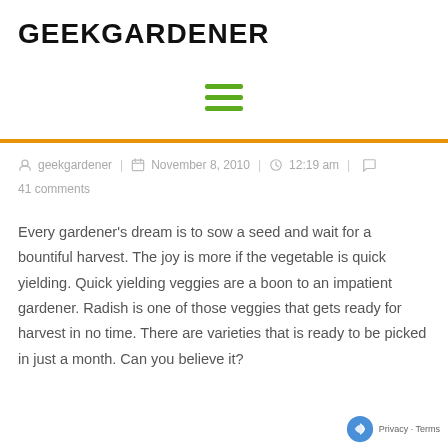GEEKGARDENER
[Figure (other): Hamburger menu icon with three horizontal green lines]
geekgardener  |  November 8, 2010  |  12:19 am  |  41  comments
Every gardener’s dream is to sow a seed and wait for a bountiful harvest. The joy is more if the vegetable is quick yielding. Quick yielding veggies are a boon to an impatient gardener. Radish is one of those veggies that gets ready for harvest in no time. There are varieties that is ready to be picked in just a month. Can you believe it?